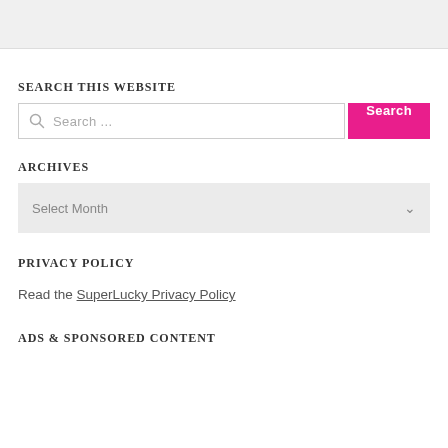SEARCH THIS WEBSITE
Search ...
ARCHIVES
Select Month
PRIVACY POLICY
Read the SuperLucky Privacy Policy
ADS & SPONSORED CONTENT